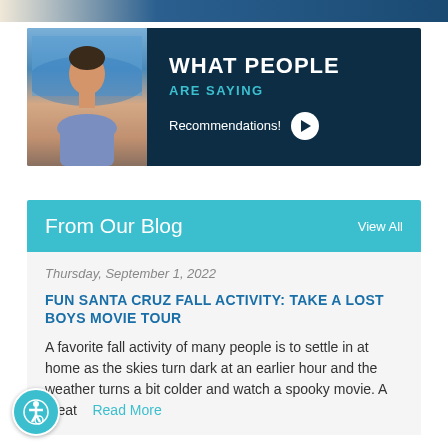[Figure (illustration): Top banner strip with gradient from light beige to dark blue]
[Figure (photo): Banner section with a man's headshot on blue/ocean background on the left, and dark navy background on right with 'WHAT PEOPLE ARE SAYING' text and Recommendations! play button]
WHAT PEOPLE ARE SAYING
Recommendations!
From Our Blog
View All
Thursday, September 1, 2022
FUN SANTA CRUZ FALL ACTIVITY: TAKE A LOST BOYS MOVIE TOUR
A favorite fall activity of many people is to settle in at home as the skies turn dark at an earlier hour and the weather turns a bit colder and watch a spooky movie. A great
Read More